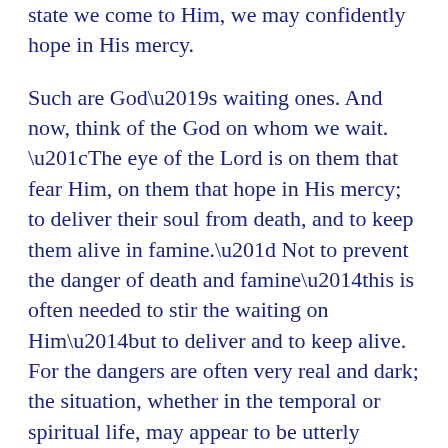state we come to Him, we may confidently hope in His mercy.
Such are God’s waiting ones. And now, think of the God on whom we wait. “The eye of the Lord is on them that fear Him, on them that hope in His mercy; to deliver their soul from death, and to keep them alive in famine.” Not to prevent the danger of death and famine—this is often needed to stir the waiting on Him—but to deliver and to keep alive. For the dangers are often very real and dark; the situation, whether in the temporal or spiritual life, may appear to be utterly hopeless. There is always one hope: God’s eye is on them. That eye sees the danger, and sees in tender love His trembling waiting child, and sees the moment when the heart is ripe for the